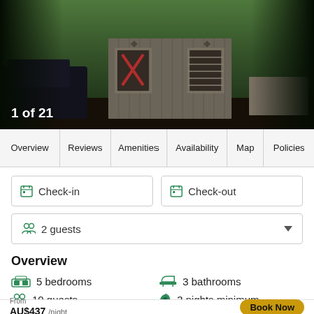[Figure (photo): Exterior photo of a rustic wooden cabin with shuttered windows, a red X decoration, and surrounding trees. A dark vehicle is visible to the left.]
1 of 21
Overview | Reviews | Amenities | Availability | Map | Policies
Check-in
Check-out
2 guests
Overview
5 bedrooms
3 bathrooms
10 guests
3 nights minimum
Holiday Rental House
From
AU$437 /night
Book Now